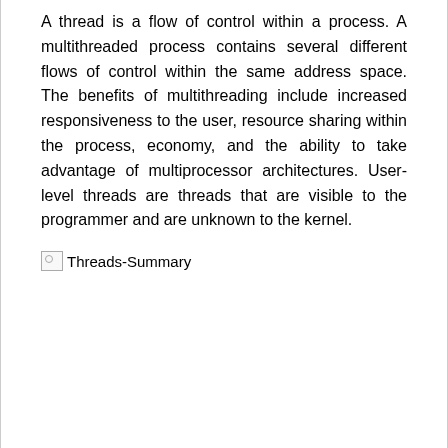A thread is a flow of control within a process. A multithreaded process contains several different flows of control within the same address space. The benefits of multithreading include increased responsiveness to the user, resource sharing within the process, economy, and the ability to take advantage of multiprocessor architectures. User-level threads are threads that are visible to the programmer and are unknown to the kernel.
[Figure (other): Broken image placeholder labeled 'Threads-Summary']